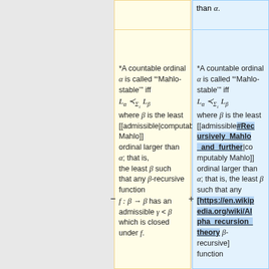than α.
*A countable ordinal α is called "'Mahlo-stable'" iff L_α ≺_{Σ₁} L_β where β is the least [[admissible|computably Mahlo]] ordinal larger than α; that is, the least β such that any β-recursive function f : β → β has an admissible γ < β which is closed under f.
*A countable ordinal α is called "'Mahlo-stable'" iff L_α ≺_{Σ₁} L_β where β is the least [[admissible#Recursively_Mahlo_and_further|computably Mahlo]] ordinal larger than α; that is, the least β such that any [https://en.wikipedia.org/wiki/Alpha_recursion_theory β-recursive] function